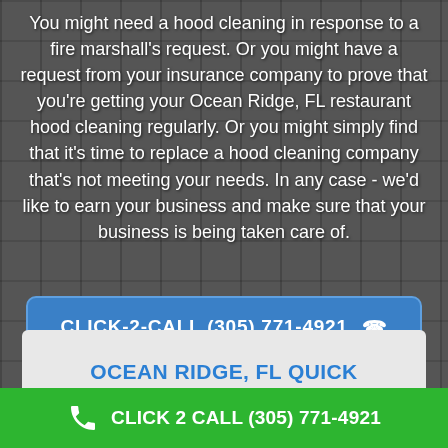You might need a hood cleaning in response to a fire marshall's request. Or you might have a request from your insurance company to prove that you're getting your Ocean Ridge, FL restaurant hood cleaning regularly. Or you might simply find that it's time to replace a hood cleaning company that's not meeting your needs. In any case - we'd like to earn your business and make sure that your business is being taken care of.
[Figure (other): Call-to-action button with blue background: CLICK-2-CALL (305) 771-4921 with telephone icon]
OCEAN RIDGE, FL QUICK
CLICK 2 CALL (305) 771-4921